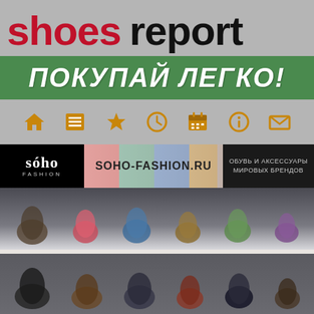shoes report
ПОКУПАЙ ЛЕГКО!
[Figure (infographic): Navigation icon bar with home, list, star, clock, calendar, info, and mail icons in golden/orange color on gray background]
[Figure (infographic): SOHO fashion advertisement banner: black logo area on left, shoes image strip in center with text SOHO-FASHION.RU, and right side with text ОБУВЬ И АКСЕССУАРЫ МИРОВЫХ БРЕНДОВ]
[Figure (photo): Two rows of various shoes displayed on white shelves in a blurred/defocused style. Top row shows colorful sneakers and sandals; bottom row shows darker shoes, sandals and boots.]